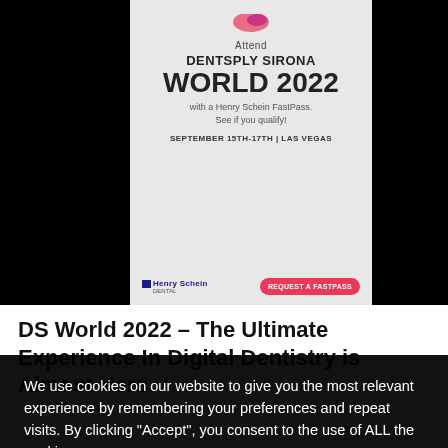[Figure (advertisement): Advertisement banner for Dentsply Sirona World 2022 with Henry Schein FastPass. Text: Attend DENTSPLY SIRONA WORLD 2022 with a Henry Schein FastPass. See if you qualify! SEPTEMBER 15TH-17TH | LAS VEGAS. Henry Schein Dental logo and REQUEST A FASTPASS button. Displayed on a dark tablet-like screen background.]
DS World 2022 – The Ultimate Experience In Digital Dentistry is Almost Here
We use cookies on our website to give you the most relevant experience by remembering your preferences and repeat visits. By clicking “Accept”, you consent to the use of ALL the cookies.
Do not sell my personal information.